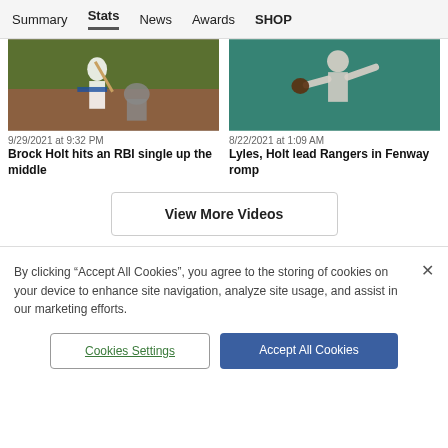Summary | Stats | News | Awards | SHOP
[Figure (photo): Baseball batter hitting at home plate with catcher behind, outdoor stadium, 9/29/2021]
[Figure (photo): Baseball pitcher throwing ball, teal/green background, 8/22/2021]
9/29/2021 at 9:32 PM
Brock Holt hits an RBI single up the middle
8/22/2021 at 1:09 AM
Lyles, Holt lead Rangers in Fenway romp
View More Videos
By clicking "Accept All Cookies", you agree to the storing of cookies on your device to enhance site navigation, analyze site usage, and assist in our marketing efforts.
Cookies Settings
Accept All Cookies